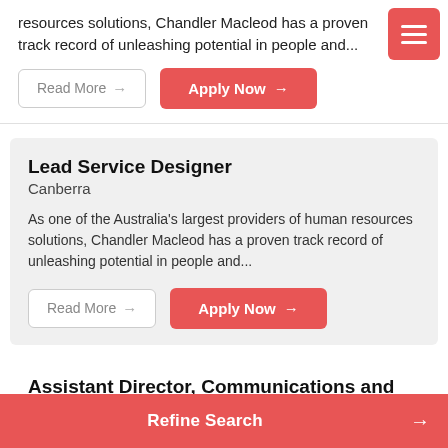resources solutions, Chandler Macleod has a proven track record of unleashing potential in people and...
Read More → Apply Now →
Lead Service Designer
Canberra
As one of the Australia's largest providers of human resources solutions, Chandler Macleod has a proven track record of unleashing potential in people and...
Read More → Apply Now →
Assistant Director, Communications and Engagement
Canberra
As one of the Australia's largest providers of human
Refine Search →